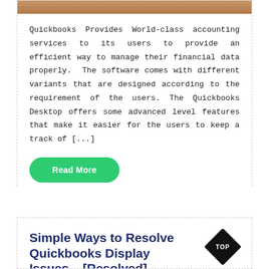[Figure (photo): Top portion of a photo showing a person, cropped at the top of the page]
Quickbooks Provides World-class accounting services to its users to provide an efficient way to manage their financial data properly.  The software comes with different variants that are designed according to the requirement of the users. The Quickbooks Desktop offers some advanced level features that make it easier for the users to keep a track of [...]
Read More
Simple Ways to Resolve Quickbooks Display Issues – [Resolved]
[Figure (logo): Black diamond-shaped TOP badge in the bottom right corner]